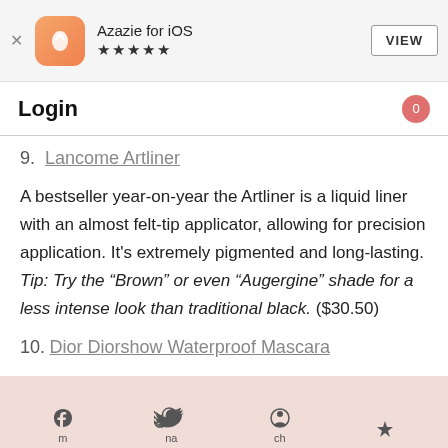[Figure (screenshot): App store banner for Azazie for iOS with app icon, 5-star rating, and VIEW button]
Login
9.  Lancome Artliner
A bestseller year-on-year the Artliner is a liquid liner with an almost felt-tip applicator, allowing for precision application. It's extremely pigmented and long-lasting. Tip: Try the “Brown” or even “Augergine” shade for a less intense look than traditional black. ($30.50)
10. Dior Diorshow Waterproof Mascara
m   na   ch (social icons: Facebook, Twitter, Pinterest, other)